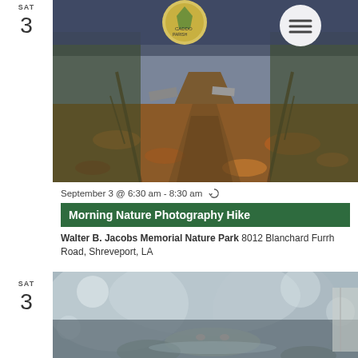SAT
3
[Figure (photo): Outdoor nature trail boardwalk covered with autumn leaves, with Caddo Parish sign and logo visible at the top, and a circular menu button overlay]
September 3 @ 6:30 am - 8:30 am (recurring event)
Morning Nature Photography Hike
Walter B. Jacobs Memorial Nature Park 8012 Blanchard Furrh Road, Shreveport, LA
SAT
3
[Figure (photo): Close-up blurred photo of what appears to be an alligator or reptile in water/natural setting]